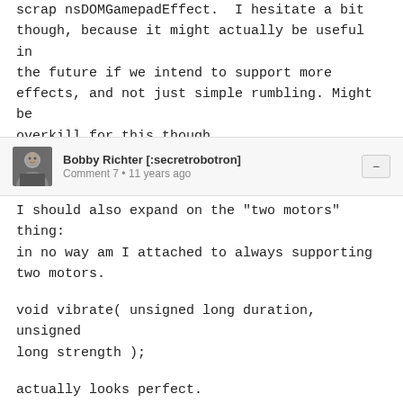scrap nsDOMGamepadEffect. I hesitate a bit though, because it might actually be useful in the future if we intend to support more effects, and not just simple rumbling. Might be overkill for this though.
Bobby Richter [:secretrobotron]
Comment 7 • 11 years ago
I should also expand on the "two motors" thing: in no way am I attached to always supporting two motors.

void vibrate( unsigned long duration, unsigned long strength );

actually looks perfect.

I was intending to finish the implementation for optional args here though, so...